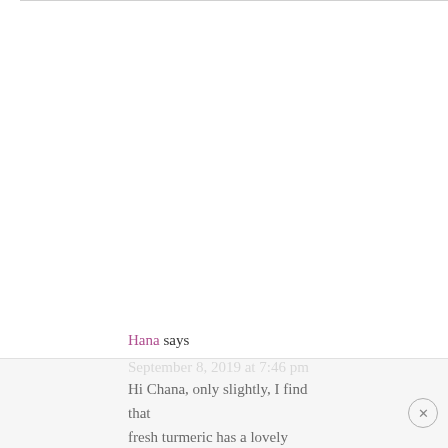Hana says
September 8, 2019 at 7:46 pm
Hi Chana, only slightly, I find that fresh turmeric has a lovely subtle